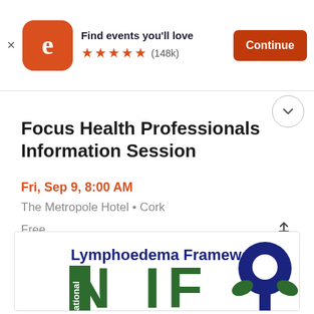[Figure (screenshot): Eventbrite app banner with orange logo showing lowercase 'e', text 'Find events you'll love', five orange stars, (148k) reviews, and an orange 'Continue' button]
Focus Health Professionals Information Session
Fri, Sep 9, 8:00 AM
The Metropole Hotel • Cork
Free
[Figure (logo): Lymphoedema Framework logo with text 'Lymphoedema Framework', letters 'NIF' in large dark green, 'ational' vertical text in white on green, and a figure icon in dark blue and green]